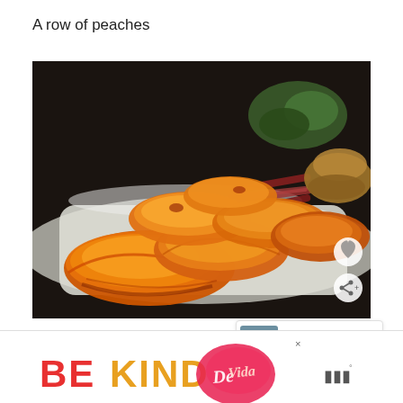A row of peaches
[Figure (photo): A photograph of sliced peaches arranged in a row on a white rectangular plate, with greens and what appears to be cured meat and bread in the background on a dark wooden surface. Overlay buttons for favorite (heart) and share are visible.]
WHAT'S NEXT → Spiced Walnut Pimento...
[Figure (infographic): Advertisement banner reading 'BE KIND' in large red and orange letters with decorative script logo and a small brand icon on the right.]